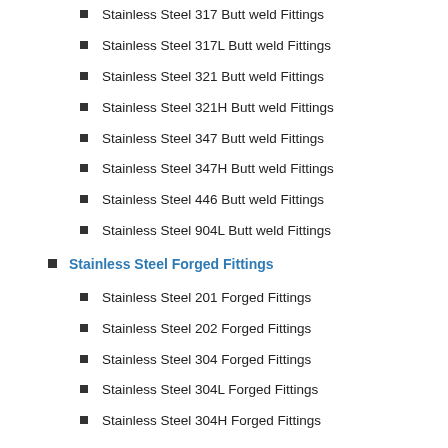Stainless Steel 317 Butt weld Fittings
Stainless Steel 317L Butt weld Fittings
Stainless Steel 321 Butt weld Fittings
Stainless Steel 321H Butt weld Fittings
Stainless Steel 347 Butt weld Fittings
Stainless Steel 347H Butt weld Fittings
Stainless Steel 446 Butt weld Fittings
Stainless Steel 904L Butt weld Fittings
Stainless Steel Forged Fittings
Stainless Steel 201 Forged Fittings
Stainless Steel 202 Forged Fittings
Stainless Steel 304 Forged Fittings
Stainless Steel 304L Forged Fittings
Stainless Steel 304H Forged Fittings